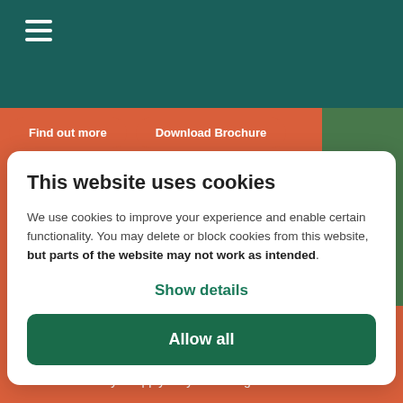[Figure (screenshot): Dark teal website header bar with hamburger menu icon (three white horizontal lines) in top-left corner]
[Figure (screenshot): Two orange rounded pill-shaped navigation buttons: 'Find out more' and 'Download Brochure' on a terracotta/green background]
This website uses cookies
We use cookies to improve your experience and enable certain functionality. You may delete or block cookies from this website, but parts of the website may not work as intended.
Show details
Allow all
together give away 64 donations of up to £1,000 each. It's easy to apply for your local good cause.